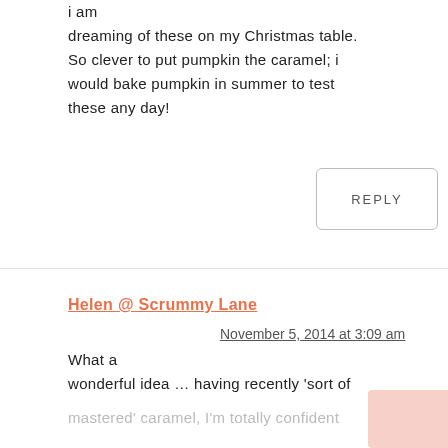i am dreaming of these on my Christmas table. So clever to put pumpkin the caramel; i would bake pumpkin in summer to test these any day!
REPLY
Helen @ Scrummy Lane
November 5, 2014 at 3:09 am
What a wonderful idea … having recently 'sort of mastered' caramel, I'm totally confident about trying these!